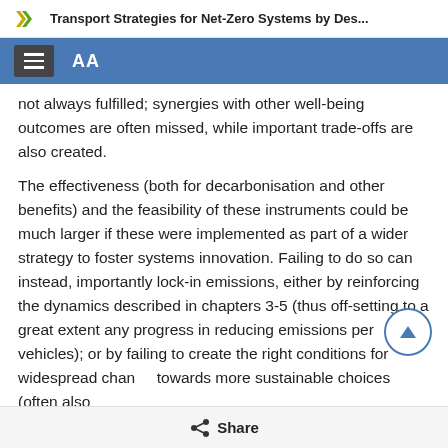Transport Strategies for Net-Zero Systems by Des...
not always fulfilled; synergies with other well-being outcomes are often missed, while important trade-offs are also created.
The effectiveness (both for decarbonisation and other benefits) and the feasibility of these instruments could be much larger if these were implemented as part of a wider strategy to foster systems innovation. Failing to do so can instead, importantly lock-in emissions, either by reinforcing the dynamics described in chapters 3-5 (thus off-setting to a great extent any progress in reducing emissions per vehicles); or by failing to create the right conditions for widespread change towards more sustainable choices (often also translating into roll-back of policies like carbon
Share